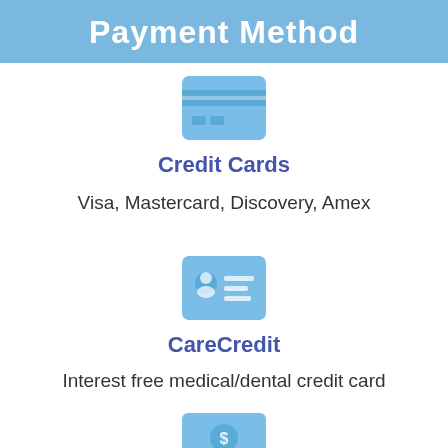Payment Method
[Figure (illustration): Blue credit card icon]
Credit Cards
Visa, Mastercard, Discovery, Amex
[Figure (illustration): Blue ID/contact card icon representing CareCredit]
CareCredit
Interest free medical/dental credit card
[Figure (illustration): Blue cash/money bill icon]